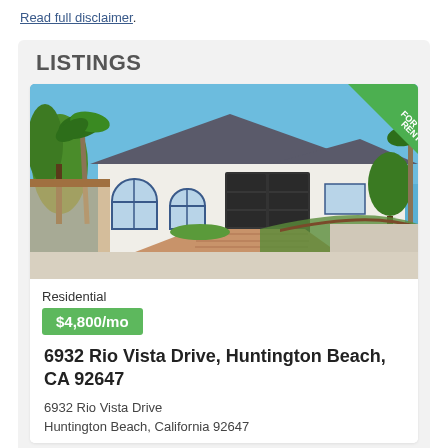Read full disclaimer.
LISTINGS
[Figure (photo): Exterior photo of a single-story white residential home with blue trim, Spanish-style arched windows, two-car garage, palm trees, circular brick driveway, and green lawn. A green 'FOR RENT' banner in the top-right corner.]
Residential
$4,800/mo
6932 Rio Vista Drive, Huntington Beach, CA 92647
6932 Rio Vista Drive
Huntington Beach, California 92647